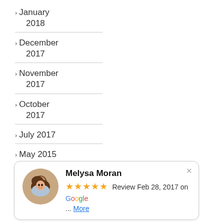> January 2018
> December 2017
> November 2017
> October 2017
> July 2017
> May 2015
Melysa Moran — ★★★★★ Review Feb 28, 2017 on Google ... More